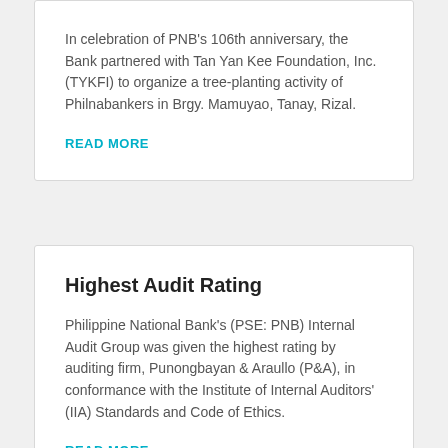In celebration of PNB's 106th anniversary, the Bank partnered with Tan Yan Kee Foundation, Inc. (TYKFI) to organize a tree-planting activity of Philnabankers in Brgy. Mamuyao, Tanay, Rizal.
READ MORE
Highest Audit Rating
Philippine National Bank's (PSE: PNB) Internal Audit Group was given the highest rating by auditing firm, Punongbayan & Araullo (P&A), in conformance with the Institute of Internal Auditors' (IIA) Standards and Code of Ethics.
READ MORE